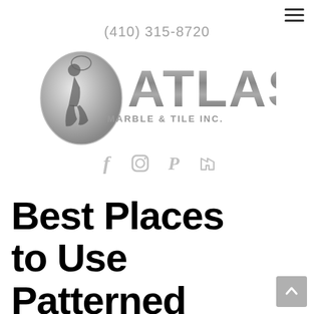≡ (hamburger menu icon)
(410) 315-8720
[Figure (logo): Atlas Marble & Tile Inc. logo — oval emblem with kneeling figure holding globe on left, large stylized 'ATLAS' text on right with 'MARBLE & TILE INC.' below in grey metallic style]
[Figure (infographic): Social media icons: Facebook, Instagram, Pinterest, Houzz — all in light grey]
Best Places to Use Patterned Tile in the